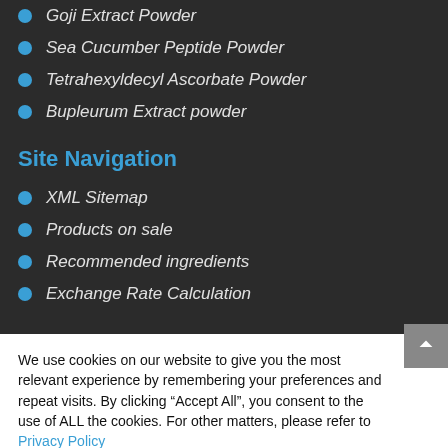Goji Extract Powder
Sea Cucumber Peptide Powder
Tetrahexyldecyl Ascorbate Powder
Bupleurum Extract powder
Site Navigation
XML Sitemap
Products on sale
Recommended ingredients
Exchange Rate Calculation
We use cookies on our website to give you the most relevant experience by remembering your preferences and repeat visits. By clicking “Accept All”, you consent to the use of ALL the cookies. For other matters, please refer to Privacy Policy